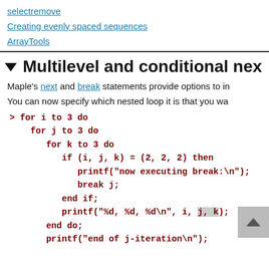selectremove
Creating evenly spaced sequences
ArrayTools
▼ Multilevel and conditional nex
Maple's next and break statements provide options to in
You can now specify which nested loop it is that you wa
> for i to 3 do
    for j to 3 do
      for k to 3 do
        if (i, j, k) = (2, 2, 2) then
          printf("now executing break:\n");
          break j;
        end if;
        printf("%d, %d, %d\n", i, j, k);
      end do;
      printf("end of j-iteration\n");